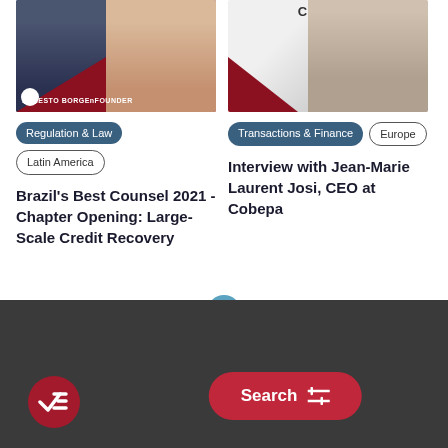[Figure (photo): Article thumbnail: Brazil's Best Counsel 2021 featuring Ernesto Borge, with dark background and branding overlay]
[Figure (photo): Article thumbnail: Interview with Jean-Marie Laurent Josi, CEO at Cobepa, with COBEPA logo and portrait photo]
Regulation & Law  Latin America
Transactions & Finance  Europe
Brazil's Best Counsel 2021 - Chapter Opening: Large-Scale Credit Recovery
Interview with Jean-Marie Laurent Josi, CEO at Cobepa
[Figure (other): Load more button: circular teal plus button centered on a horizontal divider line]
[Figure (other): Dark footer with red Search button with filter icon, and a red circle check/verified badge on the left]
Search